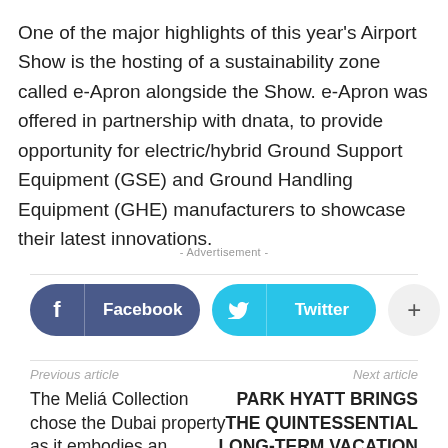One of the major highlights of this year's Airport Show is the hosting of a sustainability zone called e-Apron alongside the Show. e-Apron was offered in partnership with dnata, to provide opportunity for electric/hybrid Ground Support Equipment (GSE) and Ground Handling Equipment (GHE) manufacturers to showcase their latest innovations.
- Advertisement -
[Figure (other): Social share buttons: Facebook (dark blue pill), Twitter (cyan pill), and a plus button (light grey circle)]
Previous article
The Meliá Collection chose the Dubai property as it embodies an independent
Next article
PARK HYATT BRINGS THE QUINTESSENTIAL LONG-TERM VACATION OFFERS